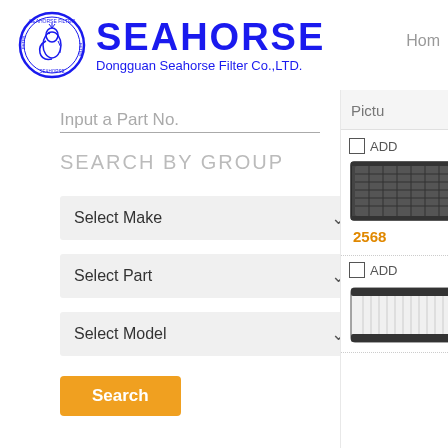[Figure (logo): Seahorse Filter circular logo with seahorse illustration and company name SEAHORSE, Dongguan Seahorse Filter Co.,LTD.]
Hom
Input a Part No.
SEARCH BY GROUP
Select Make
Select Part
Select Model
Search
[Figure (screenshot): Partial right panel showing Pictu header, ADD checkbox, cabin air filter product image (dark/charcoal), part number 2568, another ADD checkbox, and a second filter product image (white/HEPA style)]